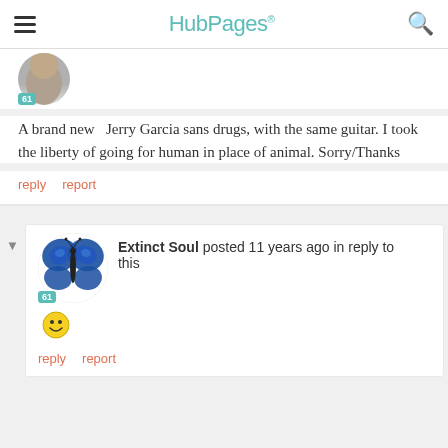HubPages
[Figure (photo): Partial avatar image of a person, partially cropped, with a teal badge showing '61']
A brand new  Jerry Garcia sans drugs, with the same guitar. I took the liberty of going for human in place of animal. Sorry/Thanks
reply   report
[Figure (photo): Blue butterfly avatar image for user 'Extinct Soul' with a teal badge showing '61']
Extinct Soul posted 11 years ago in reply to this
[Figure (illustration): Smiley face emoji :)]
reply   report